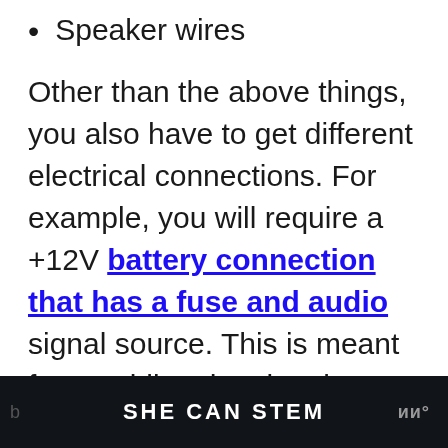Speaker wires
Other than the above things, you also have to get different electrical connections. For example, you will require a +12V battery connection that has a fuse and audio signal source. This is meant for providing the signal to boost the amplifier. Lastly, you also have to get the ultimate solid connection for the metal car
[Figure (other): SHE CAN STEM advertisement banner at bottom of page]